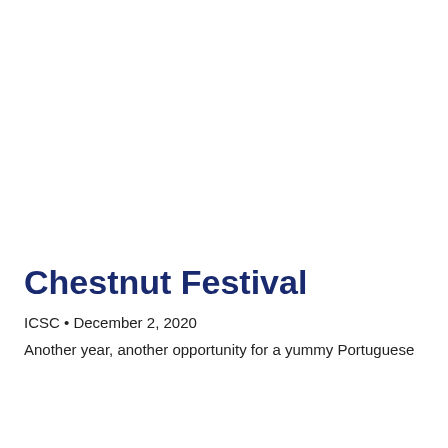Chestnut Festival
ICSC • December 2, 2020
Another year, another opportunity for a yummy Portuguese